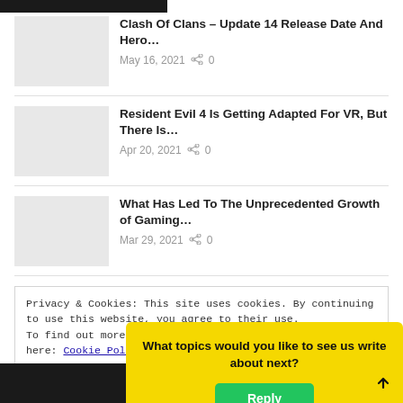Clash Of Clans – Update 14 Release Date And Hero…
May 16, 2021  🔗 0
Resident Evil 4 Is Getting Adapted For VR, But There Is…
Apr 20, 2021  🔗 0
What Has Led To The Unprecedented Growth of Gaming…
Mar 29, 2021  🔗 0
Privacy & Cookies: This site uses cookies. By continuing to use this website, you agree to their use.
To find out more, including how to control cookies, see here: Cookie Policy
What topics would you like to see us write about next?
Reply